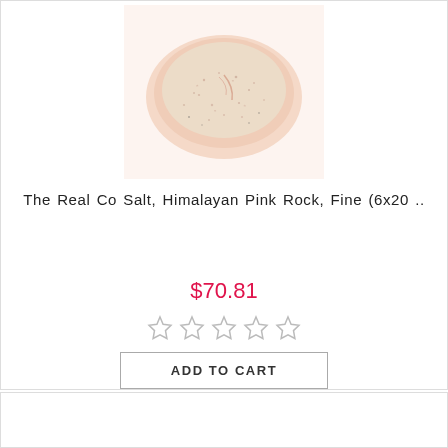[Figure (photo): Pile of fine Himalayan pink rock salt on white background]
The Real Co Salt, Himalayan Pink Rock, Fine (6x20 ..
$70.81
[Figure (other): 5 empty/grey star rating icons]
ADD TO CART